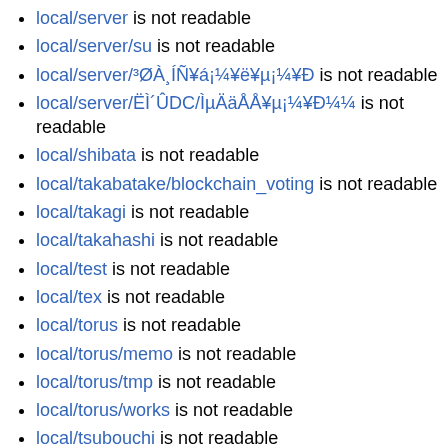local/server is not readable
local/server/su is not readable
local/server/³ØÀ¸ÍÑ¥á¡¼¥ë¥µ¡¼¥Ð is not readable
local/server/ËÌ´ÛDC/ÌµÄäÅÅ¥µ¡¼¥Ð¼¼ is not readable
local/shibata is not readable
local/takabatake/blockchain_voting is not readable
local/takagi is not readable
local/takahashi is not readable
local/test is not readable
local/tex is not readable
local/torus is not readable
local/torus/memo is not readable
local/torus/tmp is not readable
local/torus/works is not readable
local/tsubouchi is not readable
local/tsujio is not readable
local/vpn is not readable
local/wakai is not readable
local/watanabe is not readable
local/ying is not readable
local/ying/DPS122/CSEC28? is not readable
local/¥µ¡¼¥Ð´ÉÍý is not readable
local/¥¥¹¥Æ¥à is not readable
local/¥¹¥¡¼¼ is not readable